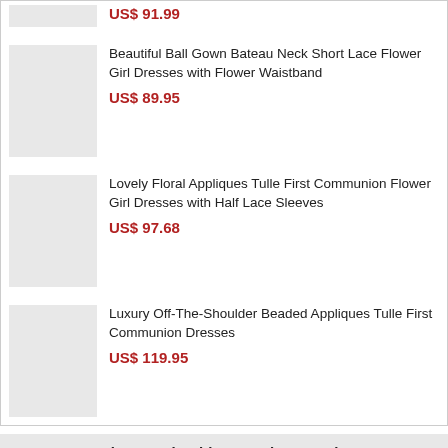US$ 91.99
Beautiful Ball Gown Bateau Neck Short Lace Flower Girl Dresses with Flower Waistband
US$ 89.95
Lovely Floral Appliques Tulle First Communion Flower Girl Dresses with Half Lace Sleeves
US$ 97.68
Luxury Off-The-Shoulder Beaded Appliques Tulle First Communion Dresses
US$ 119.95
Customers Who Bought This Item Also Bought
[Figure (photo): Three product image placeholders in a row]
[Figure (photo): Three product image placeholders in a row]